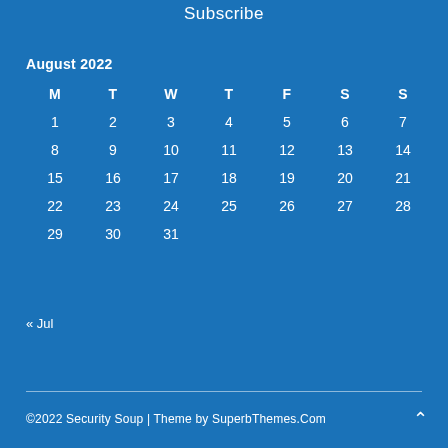Subscribe
August 2022
| M | T | W | T | F | S | S |
| --- | --- | --- | --- | --- | --- | --- |
| 1 | 2 | 3 | 4 | 5 | 6 | 7 |
| 8 | 9 | 10 | 11 | 12 | 13 | 14 |
| 15 | 16 | 17 | 18 | 19 | 20 | 21 |
| 22 | 23 | 24 | 25 | 26 | 27 | 28 |
| 29 | 30 | 31 |  |  |  |  |
« Jul
©2022 Security Soup | Theme by SuperbThemes.Com